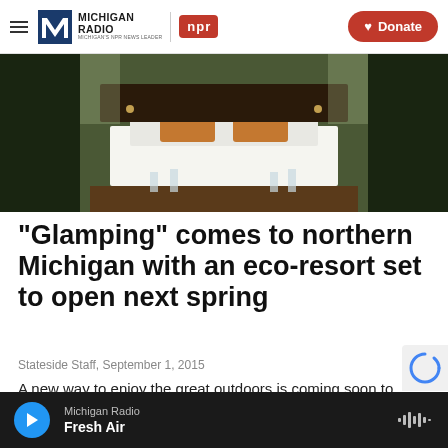Michigan Radio | NPR | Donate
[Figure (photo): Interior of a glamping tent showing a bed with white linens, orange pillows, wooden furniture, glassware, and large windows with forest views]
"Glamping" comes to northern Michigan with an eco-resort set to open next spring
Stateside Staff, September 1, 2015
A new way to enjoy the great outdoors is coming soon to northern Michigan. It's called Bella Solviva. And it's opening next spring near Torch Lake,...
Michigan Radio | Fresh Air